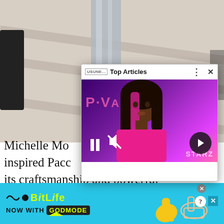[Figure (screenshot): Background photo of a person in silver/gray outfit on a light beige carpet, partially visible]
[Figure (screenshot): Video overlay popup with 'Top Articles' header bar showing a close-up of a woman with pink-highlighted hair against a pink P-Valley/Starz background. Pause, mute, and arrow navigation buttons visible.]
Michelle Mo... inspired Pacc... n its craftsmanship and powerful simplicity.
[Figure (screenshot): BitLife advertisement banner: 'NOW WITH GOD MODE' on a cyan/teal background with illustrated hands and thumbs up]